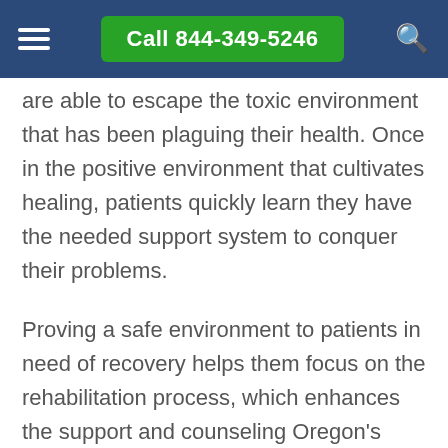Call 844-349-5246
are able to escape the toxic environment that has been plaguing their health. Once in the positive environment that cultivates healing, patients quickly learn they have the needed support system to conquer their problems.
Proving a safe environment to patients in need of recovery helps them focus on the rehabilitation process, which enhances the support and counseling Oregon's patients need during the